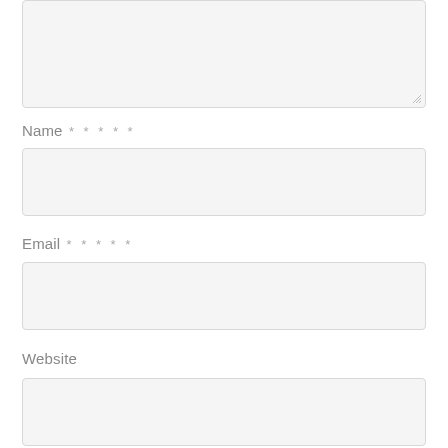[Figure (screenshot): A textarea input field (empty, resizable) at the top of a web form]
Name * * * * *
[Figure (screenshot): An empty text input field for Name]
Email * * * * *
[Figure (screenshot): An empty text input field for Email]
Website
[Figure (screenshot): An empty text input field for Website (partially visible)]